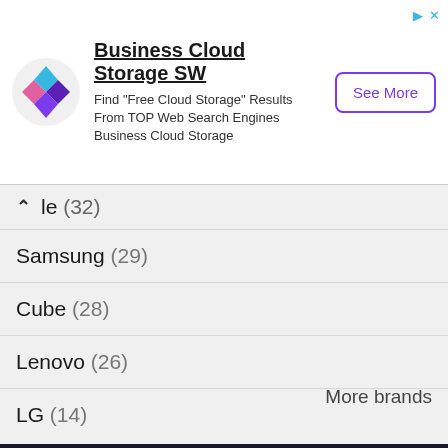[Figure (other): Advertisement banner for Business Cloud Storage SW with a colorful diamond logo, text, and 'See More' button]
le (32)
Samsung (29)
Cube (28)
Lenovo (26)
LG (14)
Amazon (11)
Acer (11)
Alcatel (8)
More brands